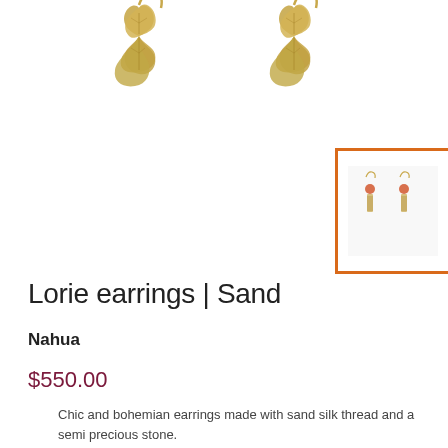[Figure (photo): Two gold leaf-shaped earrings shown from above against white background]
[Figure (photo): Thumbnail of Lorie earrings in sand color — coral/orange bead with gold chain tassel drops, shown in orange-bordered square frame]
Lorie earrings | Sand
Nahua
$550.00
Chic and bohemian earrings made with sand silk thread and a semi precious stone.